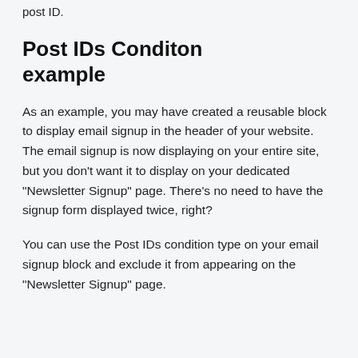post ID.
Post IDs Conditon example
As an example, you may have created a reusable block to display email signup in the header of your website. The email signup is now displaying on your entire site, but you don't want it to display on your dedicated “Newsletter Signup” page. There’s no need to have the signup form displayed twice, right?
You can use the Post IDs condition type on your email signup block and exclude it from appearing on the “Newsletter Signup” page.